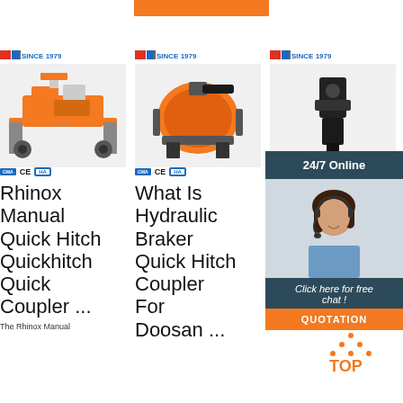[Figure (other): Orange decorative bar at the top center of the page]
[Figure (photo): Orange industrial machine - Rhinox Manual Quick Hitch product image with certification logos (GMA, CE, HA)]
Rhinox Manual Quick Hitch Quickhitch Quick Coupler ...
The Rhinox Manual
[Figure (photo): Orange hydraulic breaker machine - What Is Hydraulic Braker Quick Hitch Coupler For Doosan product image with certification logos (GMA, CE, HA)]
What Is Hydraulic Braker Quick Hitch Coupler For Doosan ...
[Figure (photo): Small black quick hitch part - Rotating Quick Hitch Excavator Quick Coupler product image with certification logo]
[Figure (infographic): 24/7 Online chat widget with woman customer service representative, 'Click here for free chat!' text and orange QUOTATION button]
Rotating Quick Hitch Excavator Quick Coupler ...
Rotating Quick Hitch